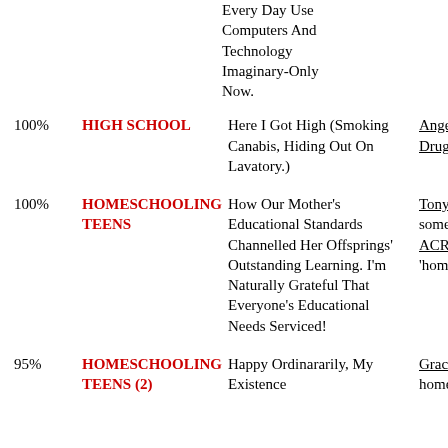Every Day Use Computers And Technology Imaginary-Only Now.
|  | Topic | Description | Reference |
| --- | --- | --- | --- |
| 100% | HIGH SCHOOL | Here I Got High (Smoking Canabis, Hiding Out On Lavatory.) | Angela Bre... Drugs:Can... |
| 100% | HOMESCHOOLING TEENS | How Our Mother's Educational Standards Channelled Her Offsprings' Outstanding Learning. I'm Naturally Grateful That Everyone's Educational Needs Serviced! | Tony McCa... someone se... ACRONY... 'homeschoo... |
| 95% | HOMESCHOOLING TEENS (2) | Happy Ordinararily, My Existence | Grace Fran... homeschoo... |